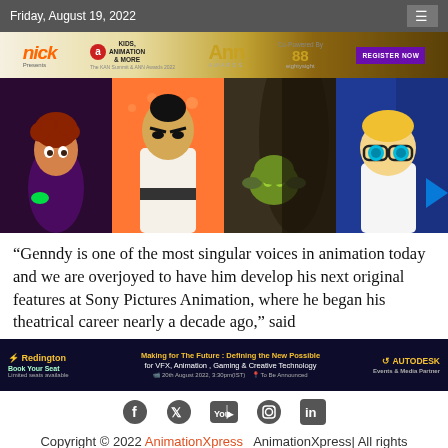Friday, August 19, 2022
[Figure (illustration): Banner ad for Nick Presents Kids Animation & More, Ann Awards, Co-Powered By 88 EightyEight, Register Now button]
[Figure (photo): Collage of four animated characters: a boy from Hotel Transylvania, Samurai Jack, Yoda from Star Wars Clone Wars, and Dexter from Dexter's Laboratory]
“Genndy is one of the most singular voices in animation today and we are overjoyed to have him develop his next original features at Sony Pictures Animation, where he began his theatrical career nearly a decade ago,” said
[Figure (illustration): Ad banner: Redington | Making for The Future: Defining the New Possible for VFX, Animation, Gaming & Creative Technology | Autodesk]
[Figure (illustration): Social media icons: Facebook, Twitter, YouTube, Instagram, LinkedIn]
Copyright © 2022 AnimationXpress  AnimationXpress| All rights reserved.